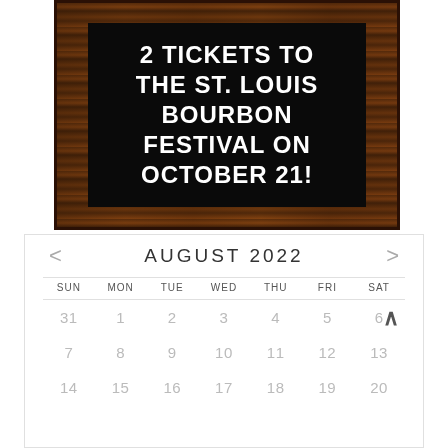[Figure (photo): A letterboard sign with a dark wood frame displaying white text on a black background reading '2 TICKETS TO THE ST. LOUIS BOURBON FESTIVAL ON OCTOBER 21!']
| SUN | MON | TUE | WED | THU | FRI | SAT |
| --- | --- | --- | --- | --- | --- | --- |
| 31 | 1 | 2 | 3 | 4 | 5 | 6 |
| 7 | 8 | 9 | 10 | 11 | 12 | 13 |
| 14 | 15 | 16 | 17 | 18 | 19 | 20 |